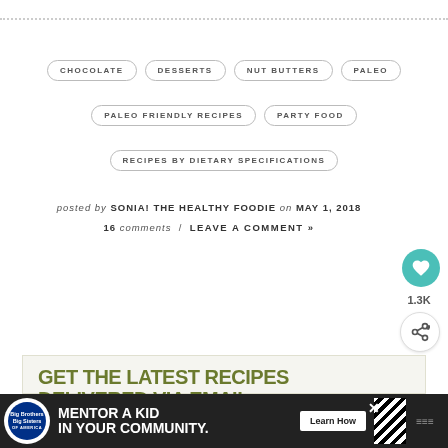CHOCOLATE
DESSERTS
NUT BUTTERS
PALEO
PALEO FRIENDLY RECIPES
PARTY FOOD
RECIPES BY DIETARY SPECIFICATIONS
posted by SONIA! THE HEALTHY FOODIE on MAY 1, 2018
16 comments / LEAVE A COMMENT »
1.3K
GET THE LATEST RECIPES DELIVERED VIA EMAIL.
Subscribe to receive new posts via email.
WHAT'S NEXT → Healthy Zucchini...
MENTOR A KID IN YOUR COMMUNITY.